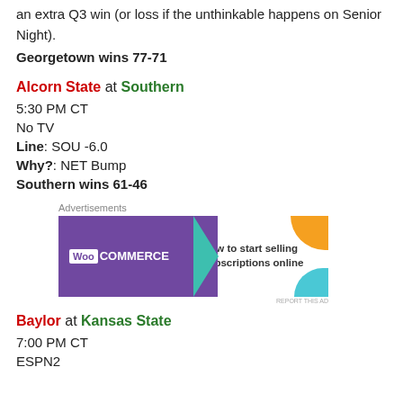an extra Q3 win (or loss if the unthinkable happens on Senior Night).
Georgetown wins 77-71
Alcorn State at Southern
5:30 PM CT
No TV
Line: SOU -6.0
Why?: NET Bump
Southern wins 61-46
[Figure (screenshot): WooCommerce advertisement banner: 'How to start selling subscriptions online']
Baylor at Kansas State
7:00 PM CT
ESPN2